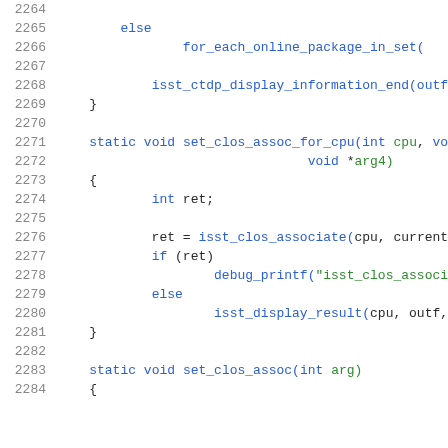Source code listing, lines 2264-2284, C programming language